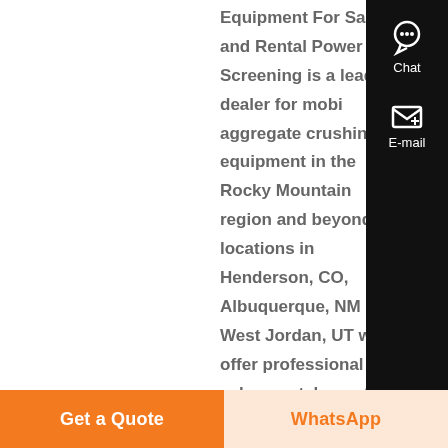Equipment For Sales and Rental Power Screening is a leading dealer for mobile aggregate crushing equipment in the Rocky Mountain region and beyond Wi locations in Henderson, CO, Albuquerque, NM and West Jordan, UT we offer professional sales, rentals, parts and service support...
[Figure (photo): Close-up photo of yellow and black industrial crushing equipment parts/gears]
Crushing Equipment for Sale and Rent | Powerscreening - Know More
Mobile Rock & Concrete Crushing Equipment For Sales and Rental Power Screening is a leading dealer for mobile
[Figure (other): Sidebar with Chat and E-mail icons on dark background]
Get a Quote
WhatsApp